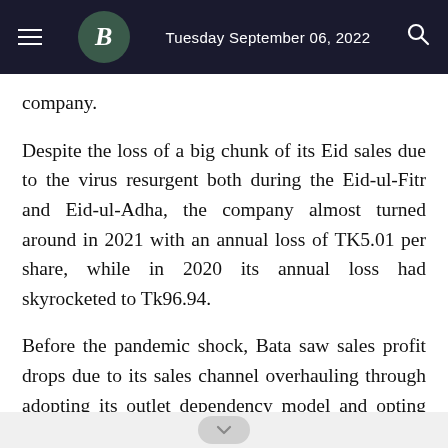Tuesday September 06, 2022
company.
Despite the loss of a big chunk of its Eid sales due to the virus resurgent both during the Eid-ul-Fitr and Eid-ul-Adha, the company almost turned around in 2021 with an annual loss of TK5.01 per share, while in 2020 its annual loss had skyrocketed to Tk96.94.
Before the pandemic shock, Bata saw sales profit drops due to its sales channel overhauling through adopting its outlet dependency model and opting out of the model of wholesaling to dealers and franchisees.